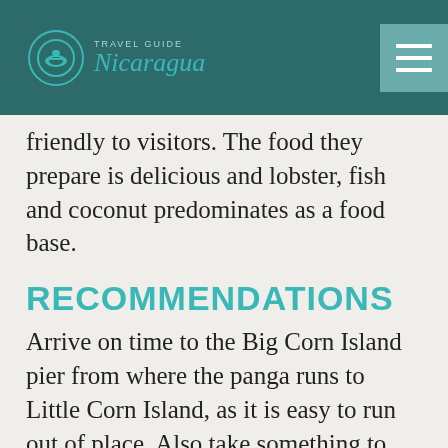Travel Guide Nicaragua
friendly to visitors. The food they prepare is delicious and lobster, fish and coconut predominates as a food base.
RECOMMENDATIONS
Arrive on time to the Big Corn Island pier from where the panga runs to Little Corn Island, as it is easy to run out of place. Also take something to cover the objects you carry with you, it is very likely that they get wet, wear spare clothes. If you are afraid of the sea, it is